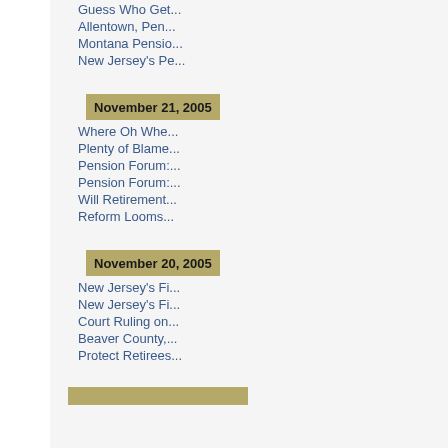Guess Who Get...
Allentown, Pen...
Montana Pensio...
New Jersey's Pe...
November 21, 2005
Where Oh Whe...
Plenty of Blame...
Pension Forum:...
Pension Forum:...
Will Retirement...
Reform Looms...
November 20, 2005
New Jersey's Fi...
New Jersey's Fi...
Court Ruling on...
Beaver County,...
Protect Retirees...